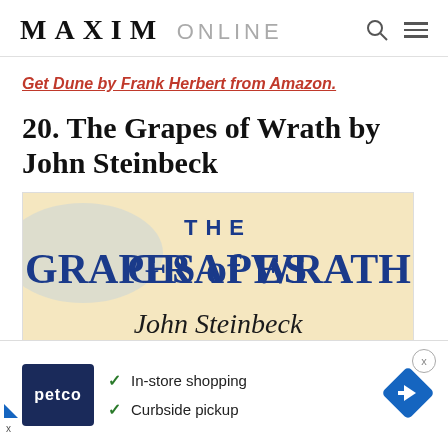MAXIM ONLINE
Get Dune by Frank Herbert from Amazon.
20. The Grapes of Wrath by John Steinbeck
[Figure (photo): Book cover of The Grapes of Wrath by John Steinbeck showing title in large blue serif letters on a cream/yellow background with author's signature below]
[Figure (other): Petco advertisement banner with logo, checkmarks for In-store shopping and Curbside pickup, and blue diamond direction arrow icon]